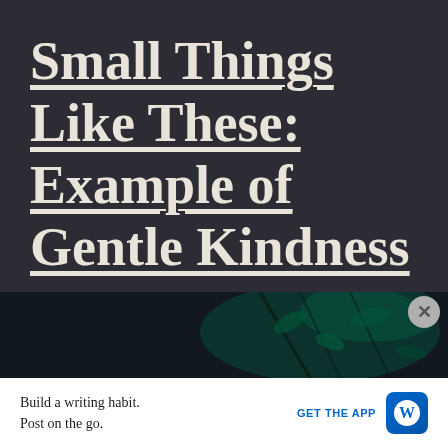Small Things Like These: Example of Gentle Kindness
[Figure (photo): Dark photograph showing green plant foliage/branches against a very dark background]
Build a writing habit. Post on the go.
GET THE APP